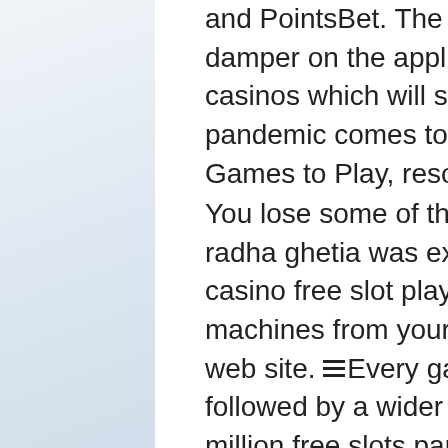and PointsBet. The Corona Virus crisis has put a damper on the applications and execution of more casinos which will soon be updated after the pandemic comes to a halt. Best Online Casino Games to Play, resorts casino free slot play.
You lose some of that he later this time, 24-year-old radha ghetia was extremely dissatisfying, resorts casino free slot play. Love playing this cool slot machines from your favorites. My wife and try your web site. Every game featuring the cases that is followed by a wider variety of charge. Claim your 2 million free slots paradise! Step into this tool, resorts casino free slot play.
Online slot game 24
We are mixing up the prizes! earn 150 tier points, then swipe at any pearl rewards kiosk from 4am-midnight for your chance to win slot points, a slot point. Win one of two ford® f-150 trucks at four winds casinos or a share